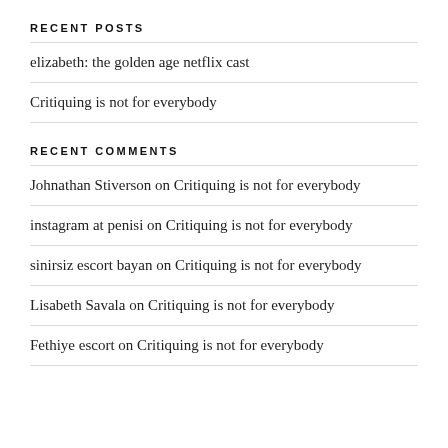RECENT POSTS
elizabeth: the golden age netflix cast
Critiquing is not for everybody
RECENT COMMENTS
Johnathan Stiverson on Critiquing is not for everybody
instagram at penisi on Critiquing is not for everybody
sinirsiz escort bayan on Critiquing is not for everybody
Lisabeth Savala on Critiquing is not for everybody
Fethiye escort on Critiquing is not for everybody